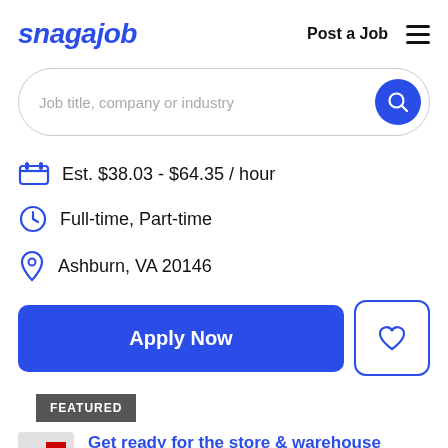snagajob  Post a Job  ☰
Job title, company or industry
Est. $38.03 - $64.35 / hour
Full-time, Part-time
Ashburn, VA 20146
Apply Now
FEATURED
Get ready for the store & warehouse hiring